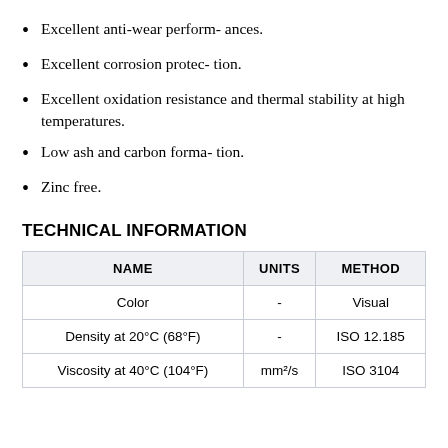Excellent anti-wear perform- ances.
Excellent corrosion protec- tion.
Excellent oxidation resistance and thermal stability at high temperatures.
Low ash and carbon forma- tion.
Zinc free.
TECHNICAL INFORMATION
| NAME | UNITS | METHOD |
| --- | --- | --- |
| Color | - | Visual |
| Density at 20°C (68°F) | - | ISO 12.185 |
| Viscosity at 40°C (104°F) | mm²/s | ISO 3104 |